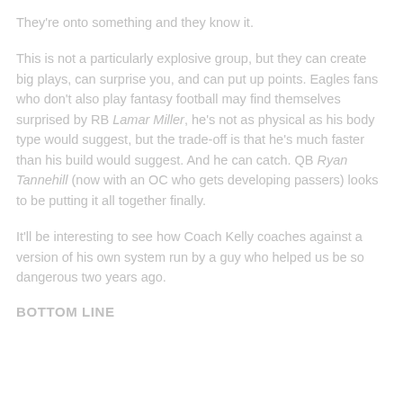They're onto something and they know it.
This is not a particularly explosive group, but they can create big plays, can surprise you, and can put up points. Eagles fans who don't also play fantasy football may find themselves surprised by RB Lamar Miller, he's not as physical as his body type would suggest, but the trade-off is that he's much faster than his build would suggest. And he can catch. QB Ryan Tannehill (now with an OC who gets developing passers) looks to be putting it all together finally.
It'll be interesting to see how Coach Kelly coaches against a version of his own system run by a guy who helped us be so dangerous two years ago.
BOTTOM LINE